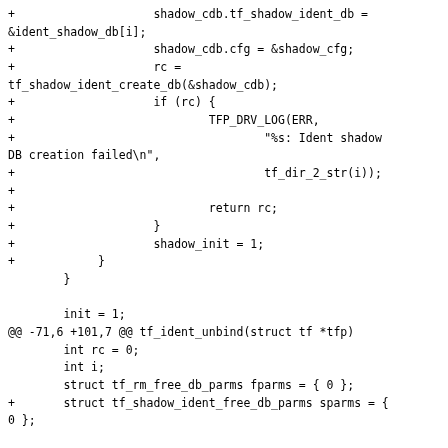Code diff showing additions to tf_shadow_ident_db initialization and tf_ident_unbind function including struct tf_shadow_ident_free_db_parms sparms declaration